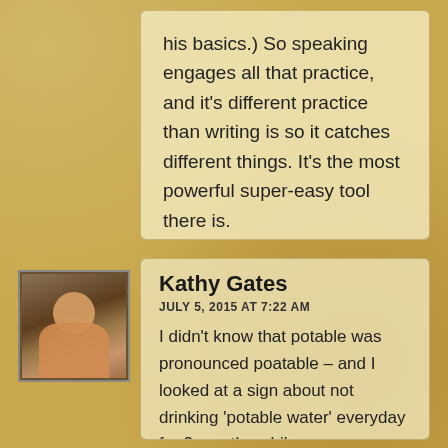his basics.) So speaking engages all that practice, and it's different practice than writing is so it catches different things. It's the most powerful super-easy tool there is.
[Figure (photo): Avatar photo of Kathy Gates, a woman with short hair wearing an orange top]
Kathy Gates
JULY 5, 2015 AT 7:22 AM
I didn't know that potable was pronounced poatable – and I looked at a sign about not drinking 'potable water' everyday for 2 months while